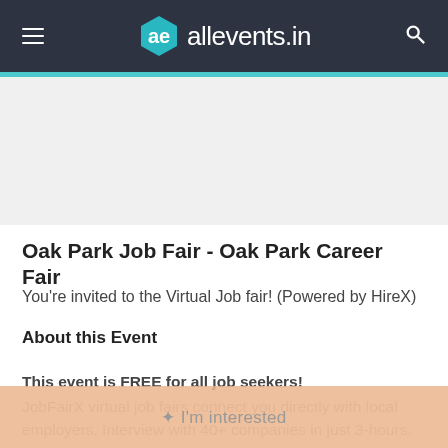allevents.in
Oak Park Job Fair - Oak Park Career Fair
You're invited to the Virtual Job fair! (Powered by HireX)
About this Event
This event is FREE for all job seekers!
JobFairX virtual job fairs connect you directly with local employers. Interview with 40+ companies in just 3-hours.